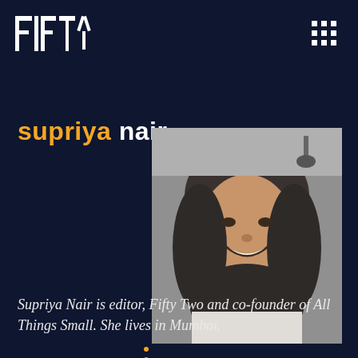FIFTY TWO
supriya nair
[Figure (photo): Black and white portrait photo of Supriya Nair smiling, with shoulder-length wavy dark hair, wearing a light-colored top]
Supriya Nair is editor, Fifty Two and co-founder of All Things Small. She lives in Mumbai.